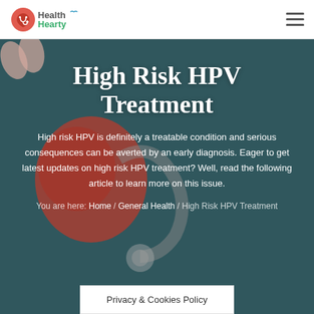[Figure (logo): HealthHearty logo with heart icon and teal/green text]
[Figure (illustration): Hamburger menu icon (three horizontal lines) in top right nav]
[Figure (photo): Dark teal hero background showing a blurred stethoscope]
High Risk HPV Treatment
High risk HPV is definitely a treatable condition and serious consequences can be averted by an early diagnosis. Eager to get latest updates on high risk HPV treatment? Well, read the following article to learn more on this issue.
You are here: Home / General Health / High Risk HPV Treatment
Privacy & Cookies Policy